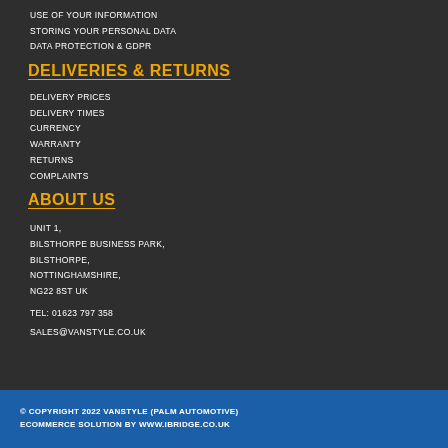USE OF YOUR INFORMATION
STORING YOUR PERSONAL DATA
DATA PROTECTION & GDPR
DELIVERIES & RETURNS
DELIVERY PRICES
DELIVERY TIMES
CURRENCY
WARRANTY
RETURNS
COMPLAINTS
ABOUT US
UNIT 1,
BILSTHORPE BUSINESS PARK,
BILSTHORPE,
NOTTINGHAMSHIRE,
NG22 8ST UK
TEL: 01623 797 358
SALES@VANSTYLE.CO.UK
© COPYRIGHT 2022 VanStyle (PALM AUTOMOTIVE)
ECOMMERCE SOLUTION BY WWW.IBRIDGE.CO.UK